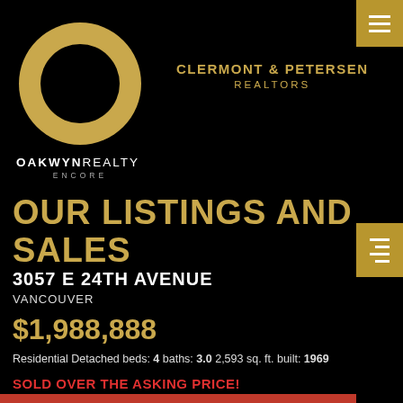[Figure (logo): Oakwyn Realty Encore gold ring logo with text OAKWYN REALTY ENCORE]
CLERMONT & PETERSEN
REALTORS
OUR LISTINGS AND SALES
3057 E 24TH AVENUE
VANCOUVER
$1,988,888
Residential Detached beds: 4 baths: 3.0 2,593 sq. ft. built: 1969
SOLD OVER THE ASKING PRICE!